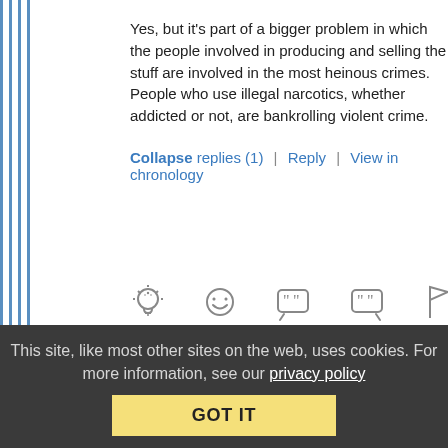Yes, but it's part of a bigger problem in which the people involved in producing and selling the stuff are involved in the most heinous crimes. People who use illegal narcotics, whether addicted or not, are bankrolling violent crime.
Collapse replies (1) | Reply | View in chronology
[Figure (other): Row of comment action icons: idea/lightbulb, laughing emoji, open quote bubble, close quote bubble, flag]
[7]
tqk (profile)   May 5, 2015 at 6:13 am
This site, like most other sites on the web, uses cookies. For more information, see our privacy policy
GOT IT